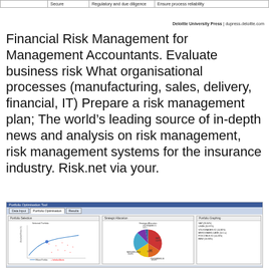|  | Secure | Regulatory and due diligence | Ensure process reliability |
| --- | --- | --- | --- |
|  |
Deloitte University Press | dupress.deloitte.com
Financial Risk Management for Management Accountants. Evaluate business risk What organisational processes (manufacturing, sales, delivery, financial, IT) Prepare a risk management plan; The world’s leading source of in-depth news and analysis on risk management, risk management systems for the insurance industry. Risk.net via your.
[Figure (screenshot): Screenshot of a Portfolio Optimisation Tool software application showing three panels: a scatter plot of Selected Portfolio, a pie chart of Strategic Allocation, and a Portfolio Graphing panel with percentage breakdowns including SAP, LINDE, VOLKSWAGEN, MERCK/BARD-CARE, FOXCOBUS, BMW.]